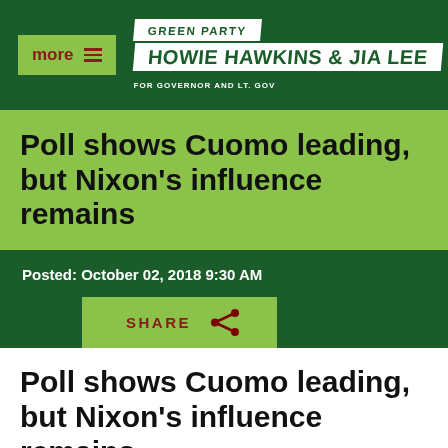[Figure (logo): Green Party campaign logo for Howie Hawkins and Jia Lee, For Governor and Lt. Gov, with more/menu button]
Poll shows Cuomo leading, but Nixon's influence remains
Posted: October 02, 2018 9:30 AM
SHARE
Poll shows Cuomo leading, but Nixon's influence remains